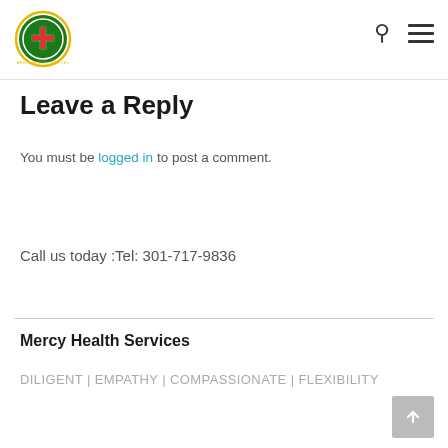Mercy Health Services
Leave a Reply
You must be logged in to post a comment.
Call us today :Tel: 301-717-9836
Mercy Health Services
DILIGENT | EMPATHY | COMPASSIONATE | FLEXIBILITY